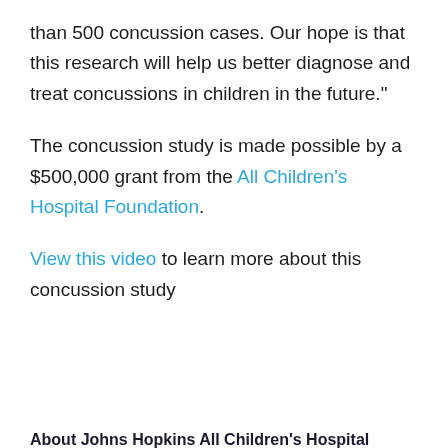than 500 concussion cases. Our hope is that this research will help us better diagnose and treat concussions in children in the future."
The concussion study is made possible by a $500,000 grant from the All Children's Hospital Foundation.
View this video to learn more about this concussion study
About Johns Hopkins All Children's Hospital
Johns Hopkins All Children's Hospital in St. Petersburg is a leader in children's health care, combining a legacy of